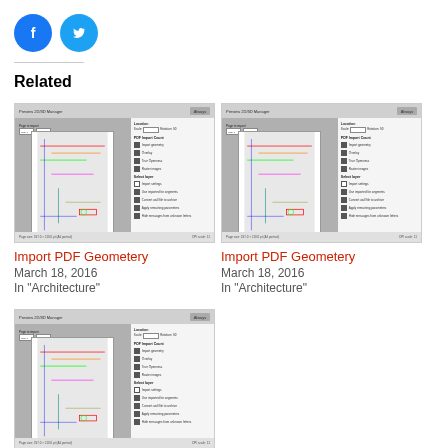[Figure (infographic): Social sharing icons: Facebook (blue circle with F) and Twitter (blue circle with bird)]
Related
[Figure (screenshot): Screenshot of Import PDF Geometry dialog in CAD/architecture software]
Import PDF Geometery
March 18, 2016
In "Architecture"
[Figure (screenshot): Screenshot of Import PDF Geometry dialog in CAD/architecture software]
Import PDF Geometery
March 18, 2016
In "Architecture"
[Figure (screenshot): Screenshot of Import PDF Geometry dialog in CAD/architecture software]
Import PDF Geometery
March 18, 2016
In "Architecture"